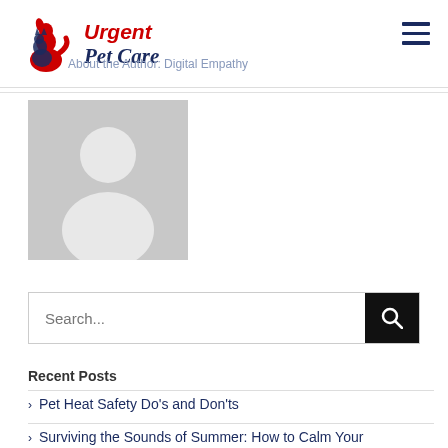[Figure (logo): Urgent Pet Care logo with red dog and blue cat silhouette]
About the Author: Digital Empathy
[Figure (photo): Gray placeholder avatar/profile image of a person silhouette]
Search...
Recent Posts
Pet Heat Safety Do's and Don'ts
Surviving the Sounds of Summer: How to Calm Your